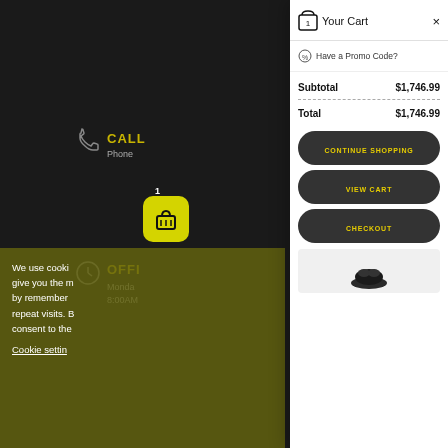[Figure (screenshot): Background website page showing phone/call icon with 'CALL' text, a yellow cart badge with number 1, clock icon with 'OFFI' text, 'Monday' hours text, and a cookie consent banner with 'We use cooki... give you the m... by remember... repeat visits. b... consent to the...' text and 'Cookie settin' underlined link]
Your Cart
Have a Promo Code?
|  |  |
| --- | --- |
| Subtotal | $1,746.99 |
| Total | $1,746.99 |
CONTINUE SHOPPING
VIEW CART
CHECKOUT
[Figure (photo): Partial view of a product image (dark colored item, possibly a shoe or accessory) at bottom of cart panel]